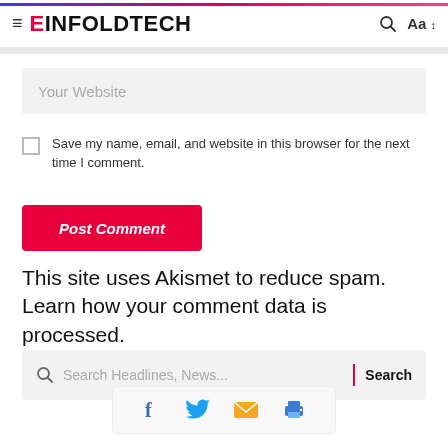EINFOLDTECH
Your Website
Save my name, email, and website in this browser for the next time I comment.
Post Comment
This site uses Akismet to reduce spam. Learn how your comment data is processed.
Search Headlines, News...
[Figure (infographic): Social share icons: Facebook, Twitter, Email, Print]